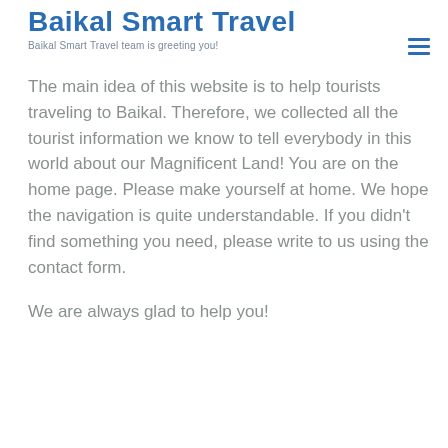Baikal Smart Travel
Baikal Smart Travel team is greeting you!
The main idea of this website is to help tourists traveling to Baikal. Therefore, we collected all the tourist information we know to tell everybody in this world about our Magnificent Land! You are on the home page. Please make yourself at home. We hope the navigation is quite understandable. If you didn't find something you need, please write to us using the contact form.

We are always glad to help you!